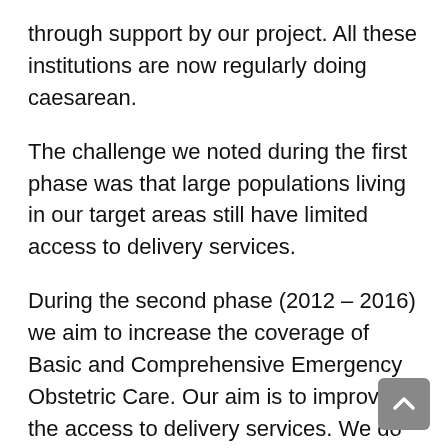through support by our project. All these institutions are now regularly doing caesarean.
The challenge we noted during the first phase was that large populations living in our target areas still have limited access to delivery services.
During the second phase (2012 – 2016) we aim to increase the coverage of Basic and Comprehensive Emergency Obstetric Care. Our aim is to improve the access to delivery services. We do this by strengthening health centres to do Basic Emergency Obstetric Care. We also link the work at these health centres to health posts in the kebeles, and to improve referrals to institutions doing caesarean sections.
During the last year the number of institutions doing Comprehensive Emergency Obstetric care (CEmOC) has increased before in Benben woreda (Oromia) i